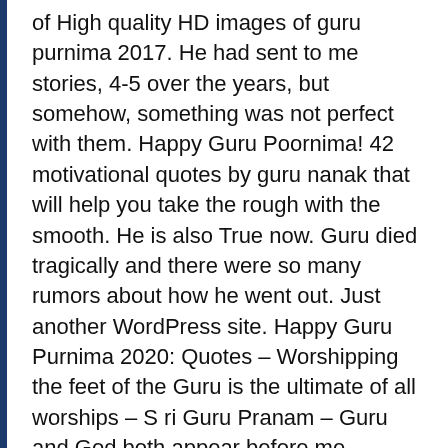of High quality HD images of guru purnima 2017. He had sent to me stories, 4-5 over the years, but somehow, something was not perfect with them. Happy Guru Poornima! 42 motivational quotes by guru nanak that will help you take the rough with the smooth. He is also True now. Guru died tragically and there were so many rumors about how he went out. Just another WordPress site. Happy Guru Purnima 2020: Quotes – Worshipping the feet of the Guru is the ultimate of all worships – S ri Guru Pranam – Guru and God both appear before me. Beautiful Quotes by Guru Nanak Dev Ji Here are some lovely quotes by Guru Nanak Ji, that you can share with your loved ones to mark this auspicious day. He can be your boss or your teacher at college or school and he truly deserver Guru Purnima messages for boss to express the gratitude you have in your heart for him. Guru's family gave me a piece of his ashes. Aug 27, 2018 - Explore tarleshan.com's board "Gurbani quotes", followed by 134